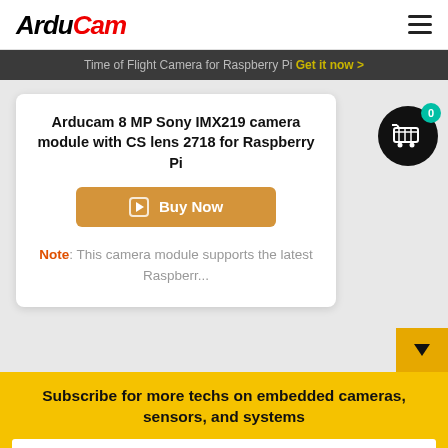[Figure (logo): ArduCam logo in black and red italic bold font]
Time of Flight Camera for Raspberry Pi  Get it now >
Arducam 8 MP Sony IMX219 camera module with CS lens 2718 for Raspberry Pi
Buy Now
Note: This camera module supports the latest Raspberr...
Subscribe for more techs on embedded cameras, sensors, and systems
Your email address..
SUBSCRIBE